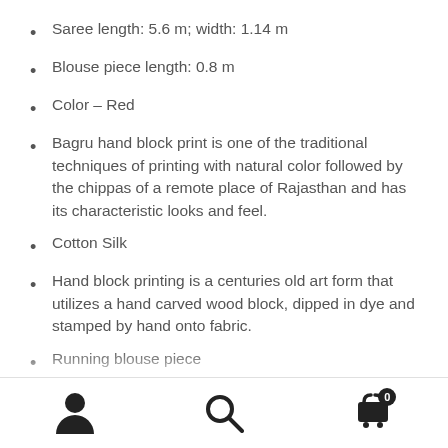Saree length: 5.6 m; width: 1.14 m
Blouse piece length: 0.8 m
Color – Red
Bagru hand block print is one of the traditional techniques of printing with natural color followed by the chippas of a remote place of Rajasthan and has its characteristic looks and feel.
Cotton Silk
Hand block printing is a centuries old art form that utilizes a hand carved wood block, dipped in dye and stamped by hand onto fabric.
Running blouse piece
Characteristic imperfections associated with hand
User | Search | Cart 0